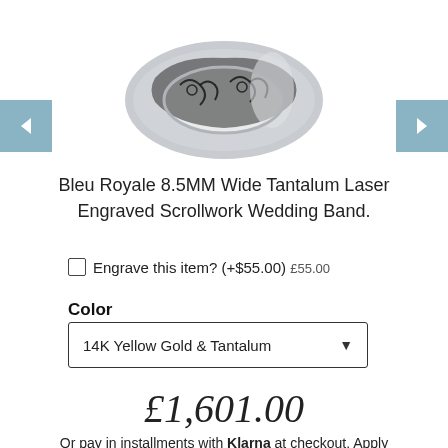[Figure (photo): A silver/tantalum ring with dark spiral scrollwork laser engraving on a white background]
Bleu Royale 8.5MM Wide Tantalum Laser Engraved Scrollwork Wedding Band.
Engrave this item? (+$55.00) £55.00
Color
14K Yellow Gold & Tantalum
£1,601.00
Or pay in installments with Klarna at checkout. Apply